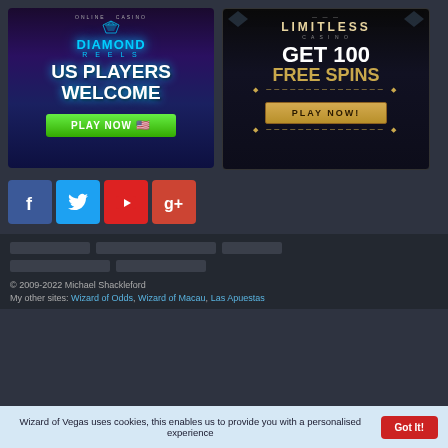[Figure (illustration): Diamond Reels online casino advertisement: dark purple/blue background with 'DIAMOND REELS' logo, text 'US PLAYERS WELCOME' in large white glowing font, green 'PLAY NOW' button with US flag emoji]
[Figure (illustration): Limitless Casino advertisement: dark background with art deco styling, 'LIMITLESS CASINO' logo, 'GET 100 FREE SPINS' in white and gold text, gold 'PLAY NOW!' button]
[Figure (illustration): Social media icon buttons: Facebook (blue), Twitter (light blue), YouTube (red), Google+ (orange-red)]
© 2009-2022 Michael Shackleford
My other sites: Wizard of Odds, Wizard of Macau, Las Apuestas
Wizard of Vegas uses cookies, this enables us to provide you with a personalised experience